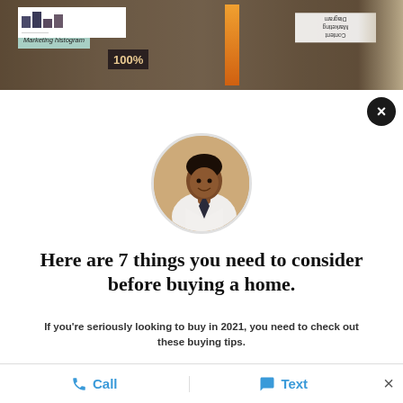[Figure (photo): Top banner photo of a desk with marketing materials including a 'Marketing histogram' chart, '100%' label, a 'Content Marketing Diagram' poster (rotated), bars chart, and an orange flag/banner in the background]
[Figure (photo): Circular profile photo of a woman in a white blazer, smiling, in a professional setting]
Here are 7 things you need to consider before buying a home.
If you're seriously looking to buy in 2021, you need to check out these buying tips.
[Figure (screenshot): Continue with Facebook button — blue rectangle with Facebook 'f' icon on the left side in a white box]
[Figure (screenshot): Continue with Google button — blue rectangle with partial Google icon visible on the left, partially cut off at bottom]
Call   Text   ×